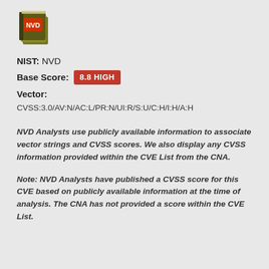[Figure (logo): NVD logo - stylized books with NVD text in gold/olive color]
NIST: NVD
Base Score: 8.8 HIGH
Vector:
CVSS:3.0/AV:N/AC:L/PR:N/UI:R/S:U/C:H/I:H/A:H
NVD Analysts use publicly available information to associate vector strings and CVSS scores. We also display any CVSS information provided within the CVE List from the CNA.
Note: NVD Analysts have published a CVSS score for this CVE based on publicly available information at the time of analysis. The CNA has not provided a score within the CVE List.